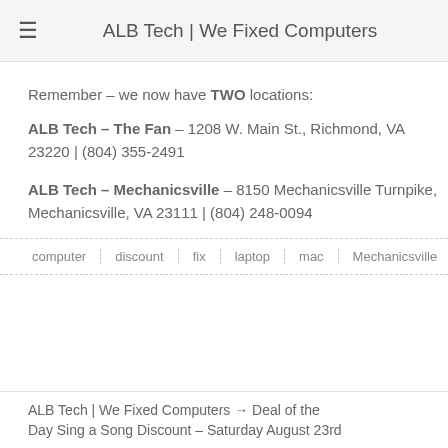ALB Tech | We Fixed Computers
Remember – we now have TWO locations:
ALB Tech – The Fan – 1208 W. Main St., Richmond, VA 23220 | (804) 355-2491
ALB Tech – Mechanicsville – 8150 Mechanicsville Turnpike, Mechanicsville, VA 23111 | (804) 248-0094
computer
discount
fix
laptop
mac
Mechanicsville
pc
ALB Tech | We Fixed Computers → Deal of the Day Sing a Song Discount – Saturday August 23rd